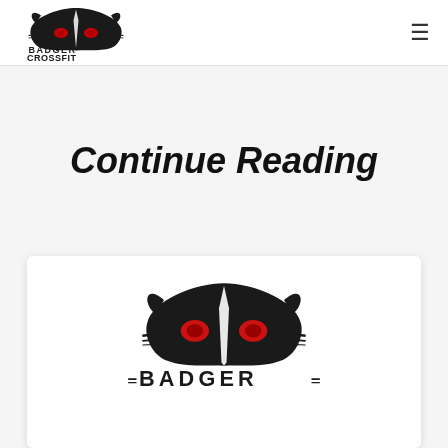Badger CrossFit logo and navigation menu
Continue Reading
[Figure (logo): Badger CrossFit logo — stylized badger face with red eyes above bold text BADGER CROSSFIT]